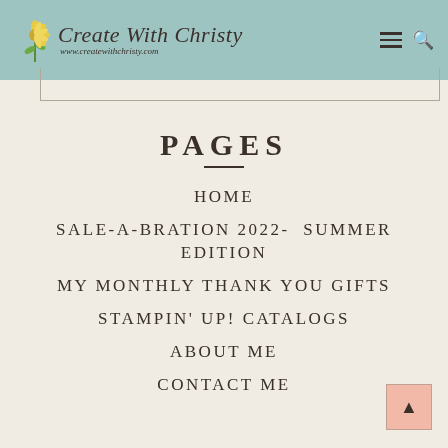Create With Christy — www.createwithchristy.com
PAGES
HOME
SALE-A-BRATION 2022- SUMMER EDITION
MY MONTHLY THANK YOU GIFTS
STAMPIN' UP! CATALOGS
ABOUT ME
CONTACT ME